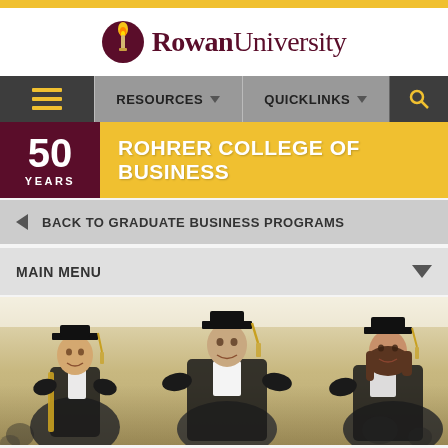[Figure (logo): Rowan University logo with torch icon and text 'Rowan University']
RESOURCES  QUICKLINKS
50 YEARS  ROHRER COLLEGE OF BUSINESS
BACK TO GRADUATE BUSINESS PROGRAMS
MAIN MENU
[Figure (photo): Three graduates in black caps and gowns smiling at a graduation ceremony]